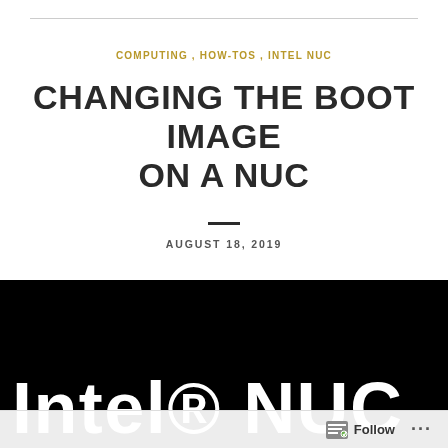COMPUTING , HOW-TOS , INTEL NUC
CHANGING THE BOOT IMAGE ON A NUC
AUGUST 18, 2019
[Figure (photo): Black background with Intel® NUC logo text in white, partially cropped]